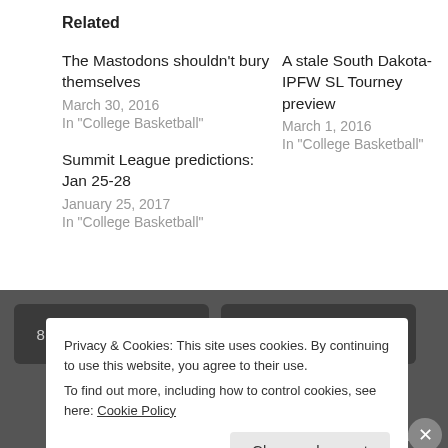Related
The Mastodons shouldn't bury themselves
March 30, 2016
In "College Basketball"
A stale South Dakota-IPFW SL Tourney preview
March 1, 2016
In "College Basketball"
Summit League predictions: Jan 25-28
January 25, 2017
In "College Basketball"
[Figure (screenshot): Dark gray navigation bar with two card thumbnails showing '8 things to know about' text]
Privacy & Cookies: This site uses cookies. By continuing to use this website, you agree to their use.
To find out more, including how to control cookies, see here: Cookie Policy
Close and accept